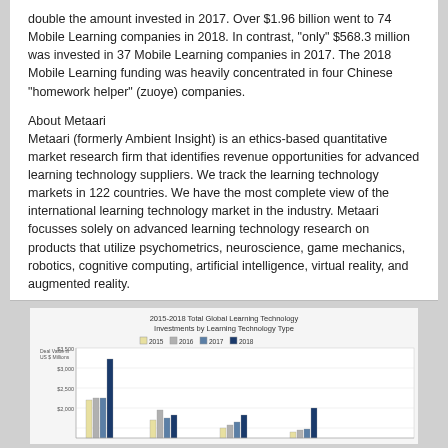double the amount invested in 2017. Over $1.96 billion went to 74 Mobile Learning companies in 2018. In contrast, "only" $568.3 million was invested in 37 Mobile Learning companies in 2017. The 2018 Mobile Learning funding was heavily concentrated in four Chinese "homework helper" (zuoye) companies.
About Metaari
Metaari (formerly Ambient Insight) is an ethics-based quantitative market research firm that identifies revenue opportunities for advanced learning technology suppliers. We track the learning technology markets in 122 countries. We have the most complete view of the international learning technology market in the industry. Metaari focusses solely on advanced learning technology research on products that utilize psychometrics, neuroscience, game mechanics, robotics, cognitive computing, artificial intelligence, virtual reality, and augmented reality.
[Figure (grouped-bar-chart): Grouped bar chart showing deal values in US$ Millions for learning technology types from 2015 to 2018, with legend showing 2015, 2016, 2017, 2018 series. Bars show a very tall dark blue bar (2018) around $3,000+ range, with other bars shorter.]